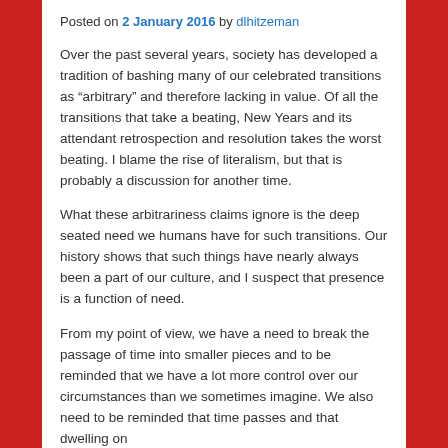Posted on 2 January 2016 by dlhitzeman
Over the past several years, society has developed a tradition of bashing many of our celebrated transitions as “arbitrary” and therefore lacking in value. Of all the transitions that take a beating, New Years and its attendant retrospection and resolution takes the worst beating. I blame the rise of literalism, but that is probably a discussion for another time.
What these arbitrariness claims ignore is the deep seated need we humans have for such transitions. Our history shows that such things have nearly always been a part of our culture, and I suspect that presence is a function of need.
From my point of view, we have a need to break the passage of time into smaller pieces and to be reminded that we have a lot more control over our circumstances than we sometimes imagine. We also need to be reminded that time passes and that dwelling on